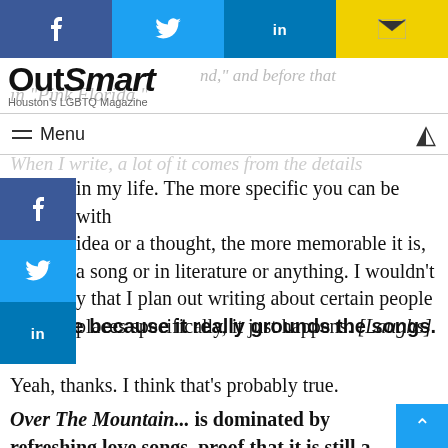Social share bar: Facebook, Twitter, LinkedIn, Email
OutSmart — Houston's LGBTQ Magazine
"...and," and before that in "Pink Florida."
Menu
When I write, a lot of it comes from the details in my life. The more specific you can be with idea or a thought, the more memorable it is, a song or in literature or anything. I wouldn't y that I plan out writing about certain people places specifically, it just happens. [Laughs]
It's nice because it really grounds the songs.
Yeah, thanks. I think that's probably true.
Over The Mountain... is dominated by refreshing love songs, proof that it is still a